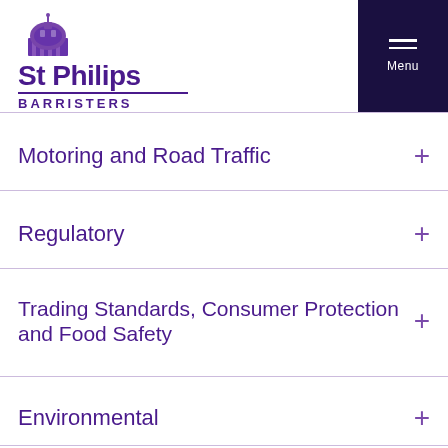[Figure (logo): St Philips Barristers logo with dome illustration and purple text]
Motoring and Road Traffic
Regulatory
Trading Standards, Consumer Protection and Food Safety
Environmental